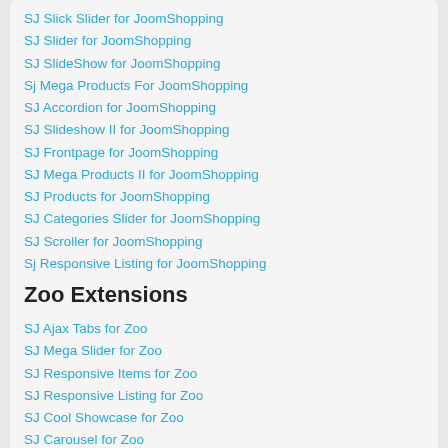SJ Slick Slider for JoomShopping
SJ Slider for JoomShopping
SJ SlideShow for JoomShopping
Sj Mega Products For JoomShopping
SJ Accordion for JoomShopping
SJ Slideshow II for JoomShopping
SJ Frontpage for JoomShopping
SJ Mega Products II for JoomShopping
SJ Products for JoomShopping
SJ Categories Slider for JoomShopping
SJ Scroller for JoomShopping
Sj Responsive Listing for JoomShopping
SJ Mega Slider for JoomShopping
Zoo Extensions
SJ Ajax Tabs for Zoo
SJ Mega Slider for Zoo
SJ Responsive Items for Zoo
SJ Responsive Listing for Zoo
SJ Cool Showcase for Zoo
SJ Carousel for Zoo
SJ Amazing Slideshow for Zoo